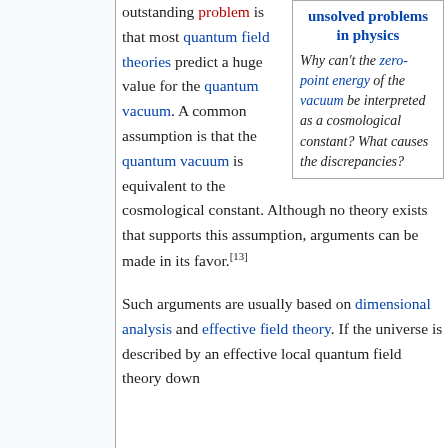outstanding problem is that most quantum field theories predict a huge value for the quantum vacuum. A common assumption is that the quantum vacuum is equivalent to the cosmological constant. Although no theory exists that supports this assumption, arguments can be made in its favor.[13]
[Figure (infographic): Infobox: 'unsolved problems in physics' with italic text asking 'Why can't the zero-point energy of the vacuum be interpreted as a cosmological constant? What causes the discrepancies?']
Such arguments are usually based on dimensional analysis and effective field theory. If the universe is described by an effective local quantum field theory down